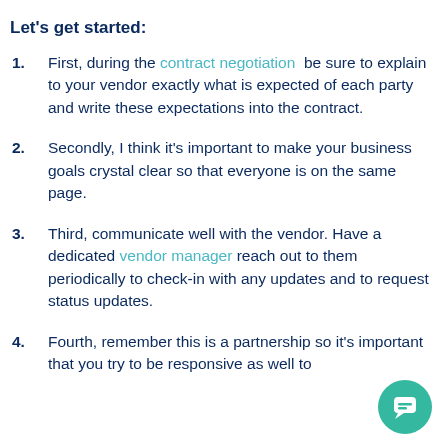Let's get started:
First, during the contract negotiation be sure to explain to your vendor exactly what is expected of each party and write these expectations into the contract.
Secondly, I think it's important to make your business goals crystal clear so that everyone is on the same page.
Third, communicate well with the vendor. Have a dedicated vendor manager reach out to them periodically to check-in with any updates and to request status updates.
Fourth, remember this is a partnership so it's important that you try to be responsive as well to